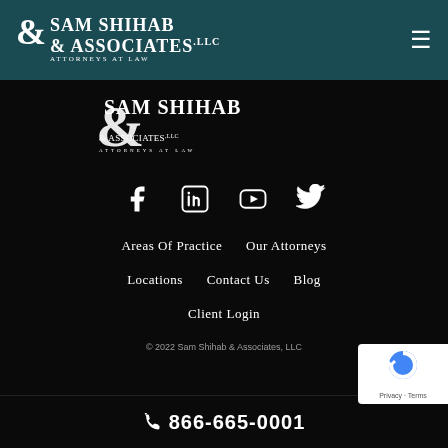Sam Shihab & Associates, LLC — Attorneys at Law
[Figure (logo): Sam Shihab & Associates LLC Attorneys at Law logo in white on dark background, large version]
[Figure (infographic): Social media icons: Facebook, LinkedIn, YouTube, Twitter — white icons on black background]
Areas Of Practice   Our Attorneys
Locations   Contact Us   Blog
Client Login
© 2022 Sam Shihab & Associates, LLC
866-665-0001